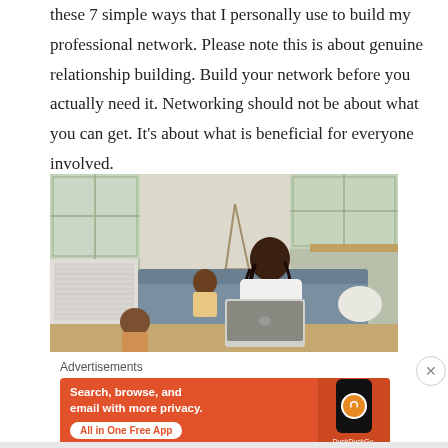these 7 simple ways that I personally use to build my professional network. Please note this is about genuine relationship building. Build your network before you actually need it. Networking should not be about what you can get. It's about what is beneficial for everyone involved.
[Figure (photo): A woman with long braided hair wearing a white robe sits on a grey sofa working on a laptop. A young child sits beside her on the sofa and another child is on the floor in front. The room has windows in the background and a tripod/easel visible.]
Advertisements
[Figure (screenshot): DuckDuckGo advertisement banner with orange background. Text reads: Search, browse, and email with more privacy. All in One Free App. Shows a phone with DuckDuckGo logo.]